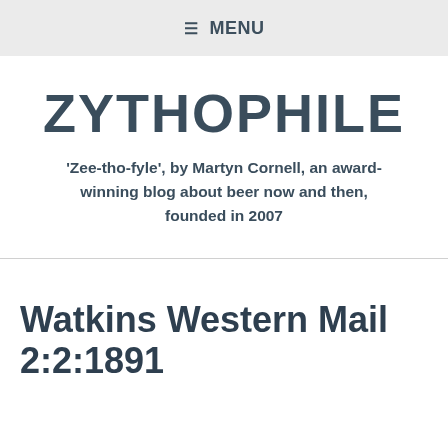≡ MENU
ZYTHOPHILE
'Zee-tho-fyle', by Martyn Cornell, an award-winning blog about beer now and then, founded in 2007
Watkins Western Mail 2:2:1891